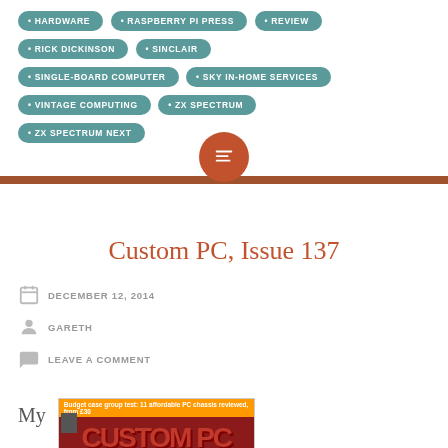HARDWARE
RASPBERRY PI PRESS
REVIEW
RICK DICKINSON
SINCLAIR
SINGLE-BOARD COMPUTER
SKY IN-HOME SERVICES
VINTAGE COMPUTING
ZX SPECTRUM
ZX SPECTRUM NEXT
Custom PC, Issue 137
DECEMBER 12, 2014
GARETH
LEAVE A COMMENT
My
[Figure (photo): Magazine cover of Custom PC Issue 137 with banner text: Budget case group test: 11 affordable PC chassis reviewed, from £30]